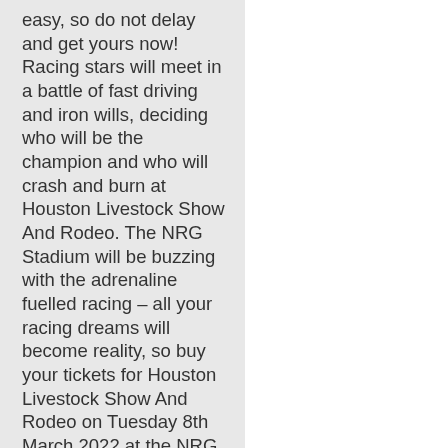easy, so do not delay and get yours now! Racing stars will meet in a battle of fast driving and iron wills, deciding who will be the champion and who will crash and burn at Houston Livestock Show And Rodeo. The NRG Stadium will be buzzing with the adrenaline fuelled racing – all your racing dreams will become reality, so buy your tickets for Houston Livestock Show And Rodeo on Tuesday 8th March 2022 at the NRG Stadium